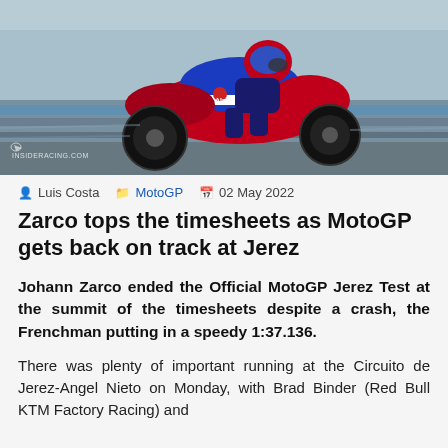[Figure (photo): A MotoGP rider on a red, white, and blue motorcycle doing a wheelie or riding at speed on a racetrack, with blue and grey track markings visible in the background. Watermark 'INSIDERACING.COM' visible at bottom left.]
Luis Costa   MotoGP   02 May 2022
Zarco tops the timesheets as MotoGP gets back on track at Jerez
Johann Zarco ended the Official MotoGP Jerez Test at the summit of the timesheets despite a crash, the Frenchman putting in a speedy 1:37.136.
There was plenty of important running at the Circuito de Jerez-Angel Nieto on Monday, with Brad Binder (Red Bull KTM Factory Racing) and